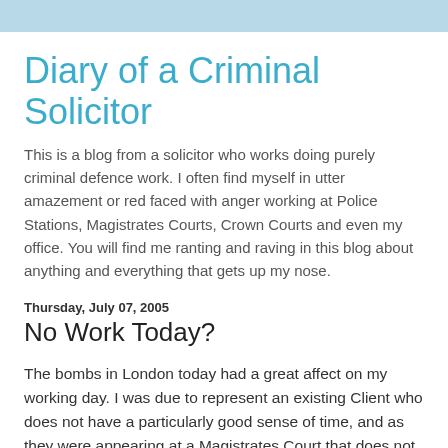Diary of a Criminal Solicitor
This is a blog from a solicitor who works doing purely criminal defence work. I often find myself in utter amazement or red faced with anger working at Police Stations, Magistrates Courts, Crown Courts and even my office. You will find me ranting and raving in this blog about anything and everything that gets up my nose.
Thursday, July 07, 2005
No Work Today?
The bombs in London today had a great affect on my working day. I was due to represent an existing Client who does not have a particularly good sense of time, and as they were appearing at a Magistrates Court that does not sit until